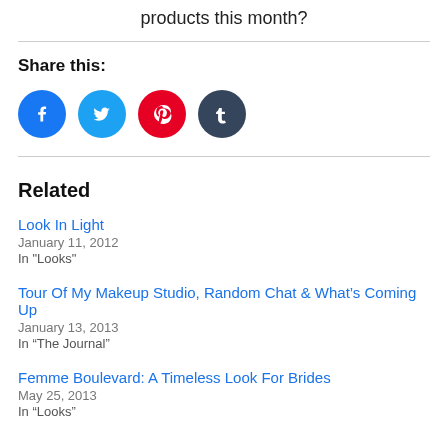products this month?
Share this:
[Figure (illustration): Social sharing icons: Facebook (blue circle), Twitter (light blue circle), Pinterest (red circle), Tumblr (dark blue-grey circle)]
Related
Look In Light
January 11, 2012
In "Looks"
Tour Of My Makeup Studio, Random Chat & What’s Coming Up
January 13, 2013
In “The Journal”
Femme Boulevard: A Timeless Look For Brides
May 25, 2013
In “Looks”